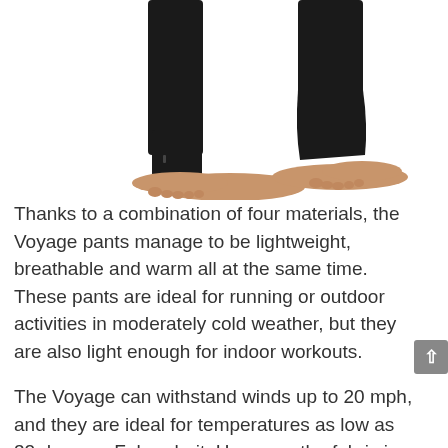[Figure (photo): Photo showing the lower legs and bare feet of a person wearing black tight-fitting pants (Voyage pants). One foot is flat on the ground, the other is raised on tiptoe, showing the ankle area with a small button or zipper detail.]
Thanks to a combination of four materials, the Voyage pants manage to be lightweight, breathable and warm all at the same time. These pants are ideal for running or outdoor activities in moderately cold weather, but they are also light enough for indoor workouts.
The Voyage can withstand winds up to 20 mph, and they are ideal for temperatures as low as 32 degrees Fahrenheit. However, the fabric is